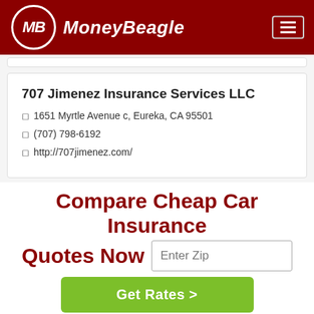MoneyBeagle
707 Jimenez Insurance Services LLC
1651 Myrtle Avenue c, Eureka, CA 95501
(707) 798-6192
http://707jimenez.com/
Compare Cheap Car Insurance Quotes Now
Enter Zip
Get Rates >